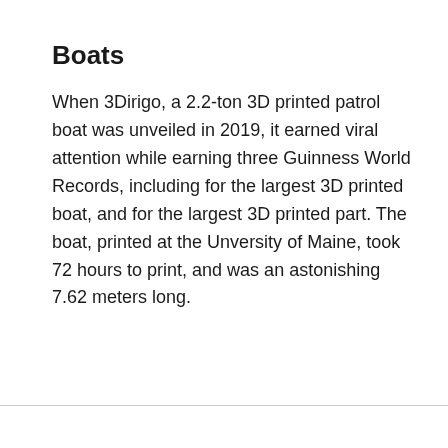Boats
When 3Dirigo, a 2.2-ton 3D printed patrol boat was unveiled in 2019, it earned viral attention while earning three Guinness World Records, including for the largest 3D printed boat, and for the largest 3D printed part. The boat, printed at the Unversity of Maine, took 72 hours to print, and was an astonishing 7.62 meters long.